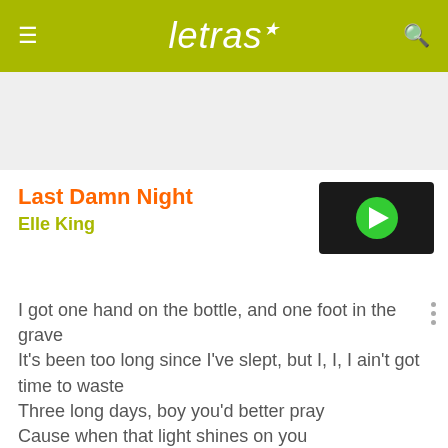letras
Last Damn Night
Elle King
[Figure (screenshot): Video thumbnail with green play button on dark background]
I got one hand on the bottle, and one foot in the grave
It's been too long since I've slept, but I, I, I ain't got time to waste
Three long days, boy you'd better pray
Cause when that light shines on you